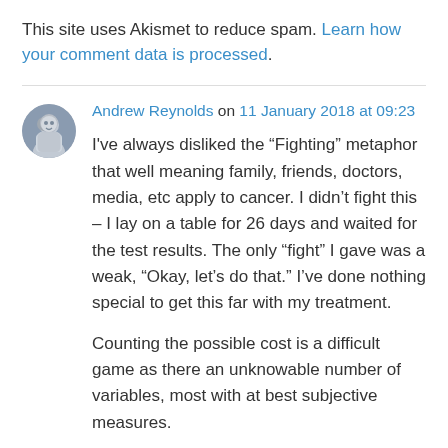This site uses Akismet to reduce spam. Learn how your comment data is processed.
Andrew Reynolds on 11 January 2018 at 09:23
I've always disliked the “Fighting” metaphor that well meaning family, friends, doctors, media, etc apply to cancer. I didn’t fight this – I lay on a table for 26 days and waited for the test results. The only “fight” I gave was a weak, “Okay, let’s do that.” I’ve done nothing special to get this far with my treatment.
Counting the possible cost is a difficult game as there an unknowable number of variables, most with at best subjective measures.